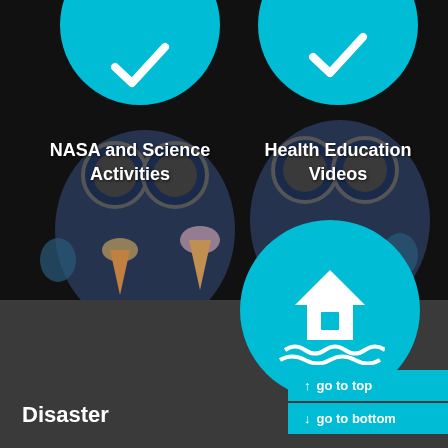[Figure (screenshot): Two cyan circular icon buttons at top of page, left one partially showing a checkmark icon, right one partially showing a checkmark icon; dark background with cartoon characters (goggle-wearing blue characters) holding ice cream cones]
NASA and Science Activities
Health Education Videos
[Figure (illustration): Large cyan circle with white house/flood icon (house with waves beneath it) in the bottom-right area]
Disaster
↑ go to top
↓ go to bottom